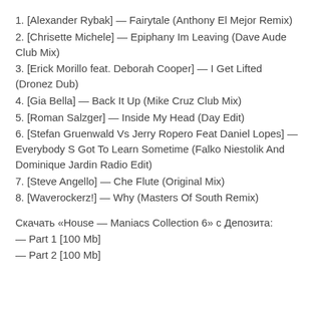1. [Alexander Rybak] — Fairytale (Anthony El Mejor Remix)
2. [Chrisette Michele] — Epiphany Im Leaving (Dave Aude Club Mix)
3. [Erick Morillo feat. Deborah Cooper] — I Get Lifted (Dronez Dub)
4. [Gia Bella] — Back It Up (Mike Cruz Club Mix)
5. [Roman Salzger] — Inside My Head (Day Edit)
6. [Stefan Gruenwald Vs Jerry Ropero Feat Daniel Lopes] — Everybody S Got To Learn Sometime (Falko Niestolik And Dominique Jardin Radio Edit)
7. [Steve Angello] — Che Flute (Original Mix)
8. [Waverockerz!] — Why (Masters Of South Remix)
Скачать «House — Maniacs Collection 6» с Депозита:
— Part 1 [100 Mb]
— Part 2 [100 Mb]